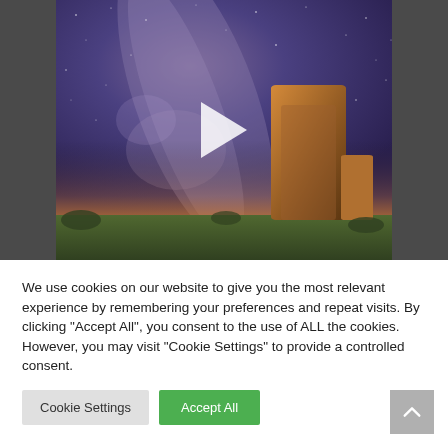[Figure (photo): Video thumbnail showing a night sky with Milky Way galaxy and a stone rock formation/ruin in the foreground, with a play button overlay. Dark gray sidebar areas on left and right.]
We use cookies on our website to give you the most relevant experience by remembering your preferences and repeat visits. By clicking "Accept All", you consent to the use of ALL the cookies. However, you may visit "Cookie Settings" to provide a controlled consent.
Cookie Settings
Accept All